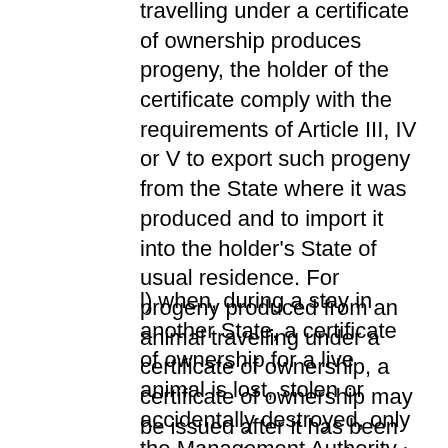travelling under a certificate of ownership produces progeny, the holder of the certificate comply with the requirements of Article III, IV or V to export such progeny from the State where it was produced and to import it into the holder's State of usual residence. For progeny produced from an animal travelling under a certificate of ownership, a certificate of ownership may be issued after it has been moved to the State of usual residence of the owner of the parent;
l) when, during a stay in another State, a certificate of ownership for a live animal is lost, stolen or accidentally destroyed, only the Management Authority that issued the document may issue a duplicate. This duplicate will bear the same number if possible and the same date of validity as the original document and a new date of issuance, and contain the following statement: "This certificate is a true copy of the original";